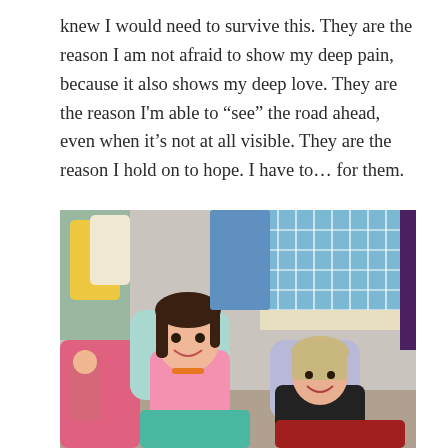knew I would need to survive this. They are the reason I am not afraid to show my deep pain, because it also shows my deep love. They are the reason I'm able to “see” the road ahead, even when it’s not at all visible. They are the reason I hold on to hope. I have to… for them.
[Figure (photo): Two young girls smiling and lounging on pillows and blankets on the floor. In the background there is a wire animal cage with blue accessories, and various bags and boxes. A doll is visible on the left side.]